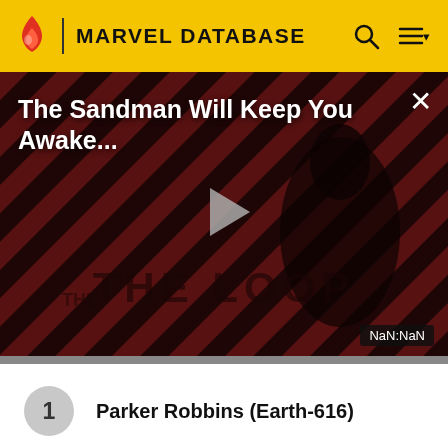MARVEL DATABASE
[Figure (screenshot): Video thumbnail with diagonal red/black stripe pattern and a dark-clothed figure. Title reads 'The Sandman Will Keep You Awake...' with THE LOOP branding and a play button. Timer shows NaN:NaN.]
1 Parker Robbins (Earth-616)
2 Victor von Doom (Earth-616)